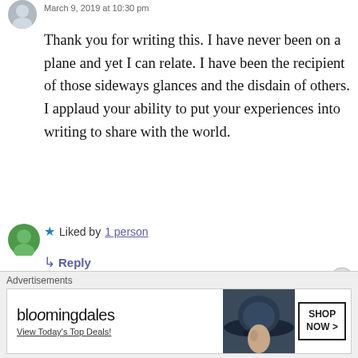March 9, 2019 at 10:30 pm
Thank you for writing this. I have never been on a plane and yet I can relate. I have been the recipient of those sideways glances and the disdain of others. I applaud your ability to put your experiences into writing to share with the world.
★ Liked by 1 person
↳ Reply
[Figure (screenshot): Bloomingdale's advertisement banner: 'bloomingdales - View Today's Top Deals! SHOP NOW >' with woman wearing a large hat]
Advertisements